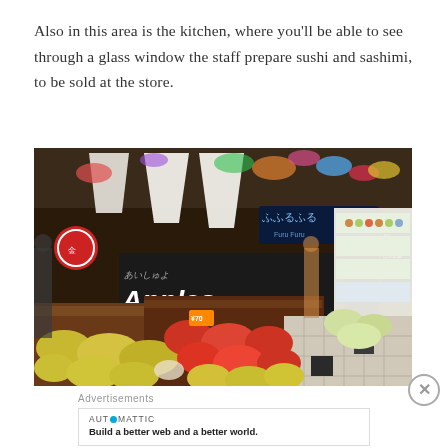Also in this area is the kitchen, where you'll be able to see through a glass window the staff prepare sushi and sashimi, to be sold at the store.
[Figure (photo): Interior of a Japanese grocery store produce section showing colorful fruit displays including apples, with decorative banners and signage in Japanese and English reading 'Apples', and refrigerated shelves in the background.]
Advertisements
AUTOMATTIC
Build a better web and a better world.